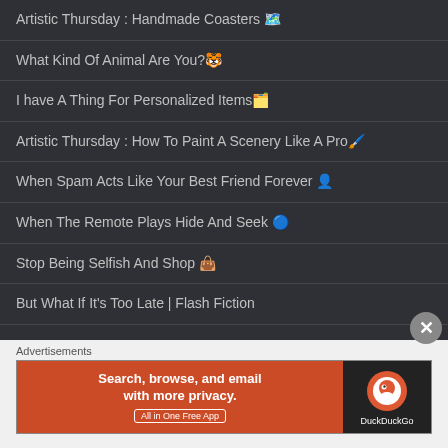Artistic Thursday : Handmade Coasters 🗺️
What Kind Of Animal Are You?🐯
I have A Thing For Personalized Items🗂️
Artistic Thursday : How To Paint A Scenery Like A Pro🖌️
When Spam Acts Like Your Best Friend Forever 👤
When The Remote Plays Hide And Seek 🔵
Stop Being Selfish And Shop 👜
But What If It's Too Late | Flash Fiction
Advertisements
[Figure (screenshot): DuckDuckGo advertisement banner: orange left panel with text 'Search, browse, and email with more privacy. All in One Free App' and dark right panel with DuckDuckGo logo]